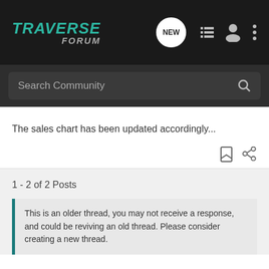TRAVERSE FORUM
The sales chart has been updated accordingly...
1 - 2 of 2 Posts
This is an older thread, you may not receive a response, and could be reviving an old thread. Please consider creating a new thread.
Join the discussion